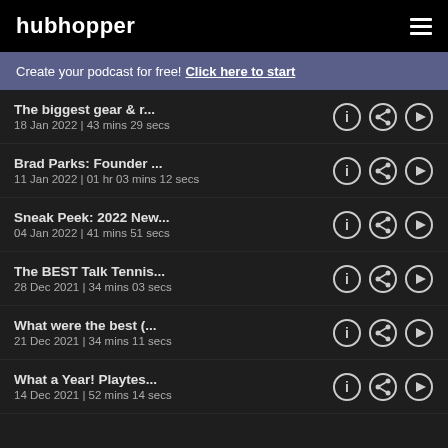hubhopper
Create your podcast for free! Click here to start
The biggest gear & r...
18 Jan 2022 | 43 mins 29 secs
Brad Parks: Founder ...
11 Jan 2022 | 01 hr 03 mins 12 secs
Sneak Peek: 2022 New...
04 Jan 2022 | 41 mins 51 secs
The BEST Talk Tennis...
28 Dec 2021 | 34 mins 03 secs
What were the best (…
21 Dec 2021 | 34 mins 11 secs
What a Year! Playtes...
14 Dec 2021 | 52 mins 14 secs